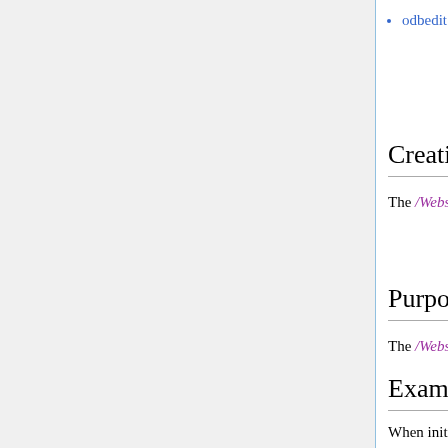odbedit
/Experiment tree ODB
Creating the /Webserver tree
The /Webserver ODB tree is created automatically when the mhttpd program is first run.
Purpose
The /Webserver ODB tree configures the behaviour and security features of mhttpd.
Examples
When initially created, the /Webserver tree contains the following keys: